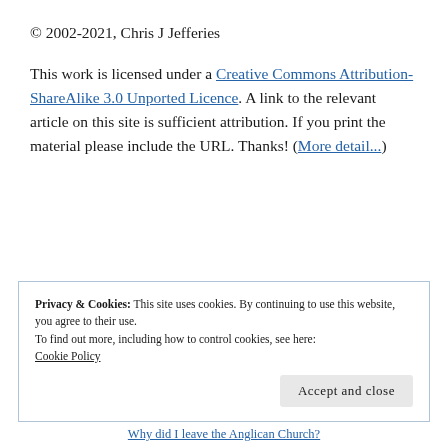© 2002-2021, Chris J Jefferies
This work is licensed under a Creative Commons Attribution-ShareAlike 3.0 Unported Licence. A link to the relevant article on this site is sufficient attribution. If you print the material please include the URL. Thanks! (More detail...)
Privacy & Cookies: This site uses cookies. By continuing to use this website, you agree to their use.
To find out more, including how to control cookies, see here:
Cookie Policy
Accept and close
Why did I leave the Anglican Church?